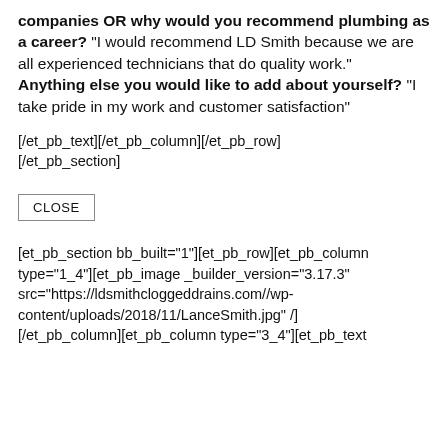companies OR why would you recommend plumbing as a career? “I would recommend LD Smith because we are all experienced technicians that do quality work.” Anything else you would like to add about yourself? “I take pride in my work and customer satisfaction”
[/et_pb_text][/et_pb_column][/et_pb_row]
[/et_pb_section]
CLOSE
[et_pb_section bb_built="1"][et_pb_row][et_pb_column type="1_4"][et_pb_image _builder_version="3.17.3" src="https://ldsmithcloggeddrains.com//wp-content/uploads/2018/11/LanceSmith.jpg" /]
[/et_pb_column][et_pb_column type="3_4"][et_pb_text